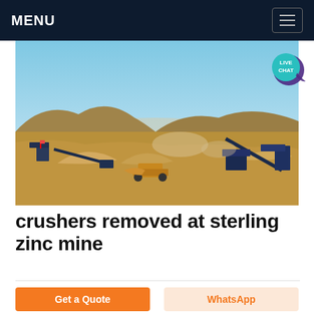MENU
[Figure (photo): Aerial view of a mining and crushing operation site with heavy machinery, conveyor belts, bulldozers, stockpiles of aggregate, dust, and hills in the background under a blue sky.]
crushers removed at sterling zinc mine
Get a Quote
WhatsApp